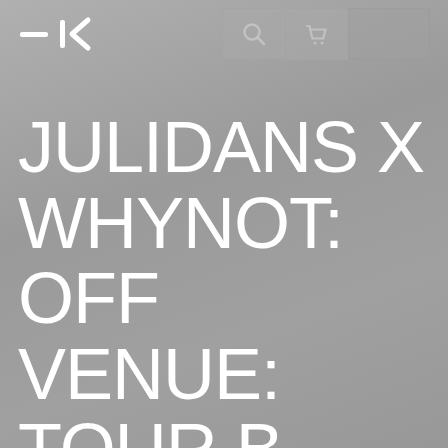[Figure (logo): Website header with logo showing stylized arrow/chevron symbol (—|<), search icon, cart icon, and a blank button area on a grey background]
JULIDANS X WHYNOT: OFF VENUE: TOUR B (START FOOD CENTRE AMSTERDAM)